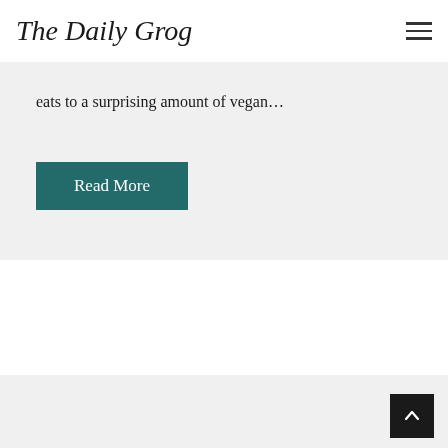The Daily Grog
eats to a surprising amount of vegan…
Read More